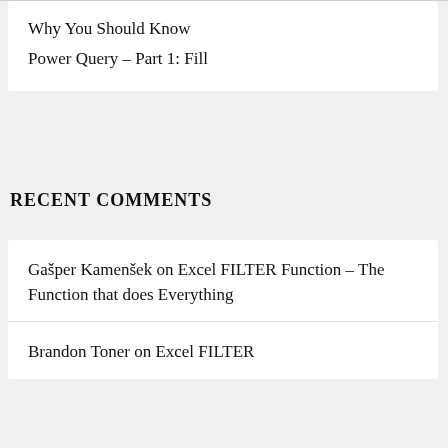Why You Should Know Power Query – Part 1: Fill
RECENT COMMENTS
Gašper Kamenšek on Excel FILTER Function – The Function that does Everything
Brandon Toner on Excel FILTER